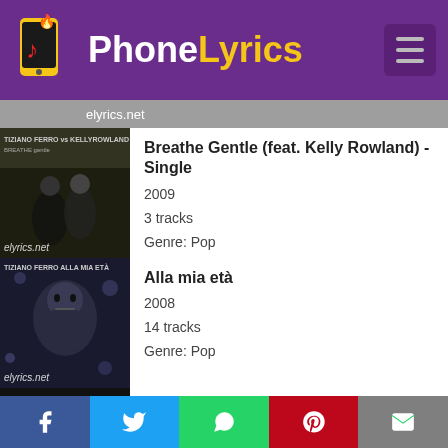PhoneLyrics
elyrics.net
Breathe Gentle (feat. Kelly Rowland) - Single
2009
3 tracks
Genre: Pop
Alla mia età
2008
14 tracks
Genre: Pop
Y Raffaella Es Mia - Paolo Aliberti Melodica Moody Mix - Single
2007
2 tracks
Genre: Latino
Nadie Está Solo
2006